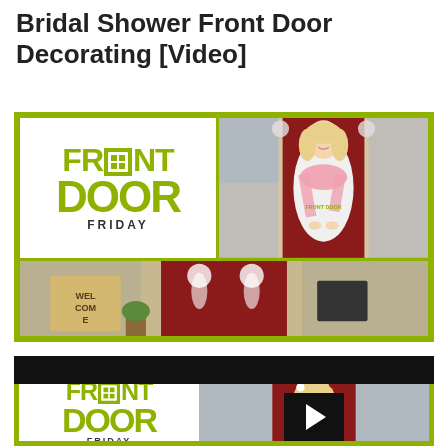Bridal Shower Front Door Decorating [Video]
[Figure (screenshot): Front Door Friday video thumbnail showing logo on left and woman in white shirt with pink scarf standing in front of red door with bridal shower decorations. Bottom panel shows a welcome sign scene.]
[Figure (screenshot): Video player showing same Front Door Friday content with black bar at top and play button overlay, featuring woman in white with pink scarf in front of red door.]